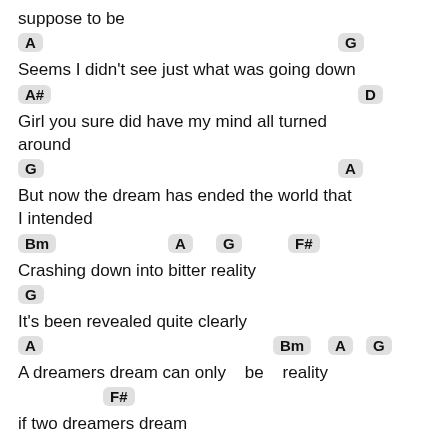suppose to be
A   G
Seems I didn't see just what was going down
A#   D
Girl you sure did have my mind all turned around
G   A
But now the dream has ended the world that I intended
Bm   A   G   F#
Crashing down into bitter reality
G
It's been revealed quite clearly
A   Bm   A   G
A dreamers dream can only   be   reality
F#
if two dreamers dream